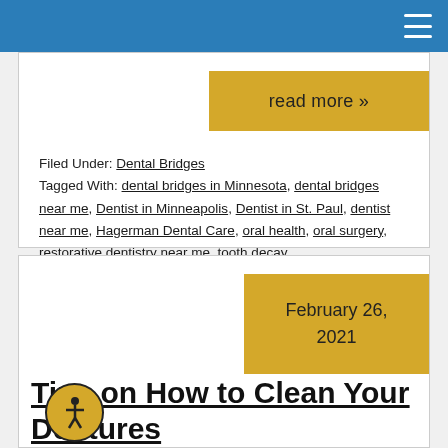≡
read more »
Filed Under: Dental Bridges
Tagged With: dental bridges in Minnesota, dental bridges near me, Dentist in Minneapolis, Dentist in St. Paul, dentist near me, Hagerman Dental Care, oral health, oral surgery, restorative dentistry near me, tooth decay
February 26, 2021
Tips on How to Clean Your Dentures